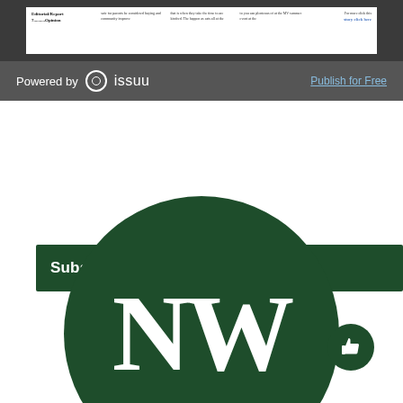[Figure (screenshot): Newspaper preview strip showing columns with article headlines and text, displayed inside a dark gray Issuu embed viewer with 'Powered by issuu' on the left and 'Publish for Free' link on the right]
Subscribe to our Weekly Newsletter
[Figure (logo): Dark green circle with white serif letters NW in the center, representing a newspaper or newsletter logo]